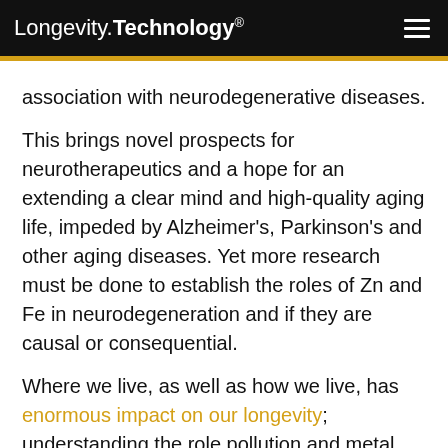Longevity.Technology®
association with neurodegenerative diseases.
This brings novel prospects for neurotherapeutics and a hope for an extending a clear mind and high-quality aging life, impeded by Alzheimer's, Parkinson's and other aging diseases. Yet more research must be done to establish the roles of Zn and Fe in neurodegeneration and if they are causal or consequential.
Where we live, as well as how we live, has enormous impact on our longevity; understanding the role pollution and metal particles have on neurodegeneration could be a